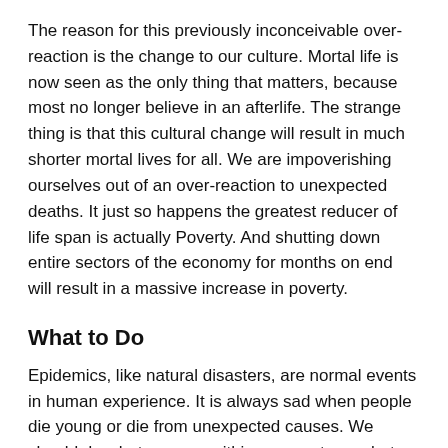The reason for this previously inconceivable over-reaction is the change to our culture.  Mortal life is now seen as the only thing that matters, because most no longer believe in an afterlife.  The strange thing is that this cultural change will result in much shorter mortal lives for all.  We are impoverishing ourselves out of an over-reaction to unexpected deaths.  It just so happens the greatest reducer of life span is actually Poverty.  And shutting down entire sectors of the economy for months on end will result in a massive increase in poverty.
What to Do
Epidemics, like natural disasters, are normal events in human experience.  It is always sad when people die young or die from unexpected causes.  We should do what we can, within reason, to combat epidemics, and help any who suddenly stand in need.